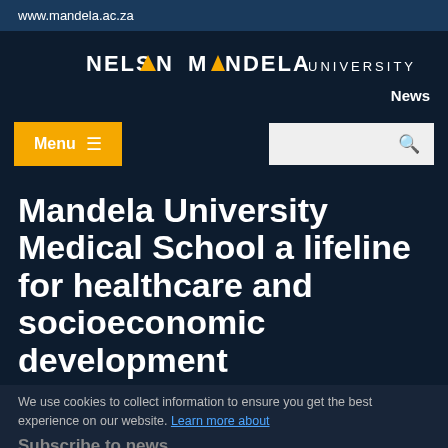www.mandela.ac.za
[Figure (logo): Nelson Mandela University logo with yellow triangle and wordmark]
News
Menu ≡
Mandela University Medical School a lifeline for healthcare and socioeconomic development
We use cookies to collect information to ensure you get the best experience on our website. Learn more about
Subscribe to news